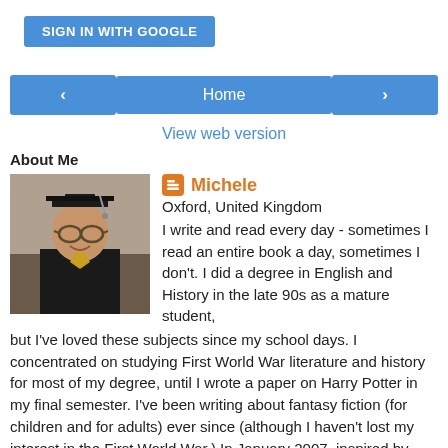[Figure (other): Sign in with Google button (blue rounded rectangle)]
[Figure (other): Navigation row with left arrow button, Home button, and right arrow button]
View web version
About Me
[Figure (photo): Profile photo of Michele, a woman wearing graduation cap and gown with glasses]
Michele
Oxford, United Kingdom
I write and read every day - sometimes I read an entire book a day, sometimes I don't. I did a degree in English and History in the late 90s as a mature student, but I've loved these subjects since my school days. I concentrated on studying First World War literature and history for most of my degree, until I wrote a paper on Harry Potter in my final semester. I've been writing about fantasy fiction (for children and for adults) ever since (although I haven't lost my interest in the First World War.) In January 2007, inspired by David Tennant's performances as the Tenth Doctor, I took up writing "Doctor Who" fan-fiction (and no, I don't intend to try to publish it anywhere except